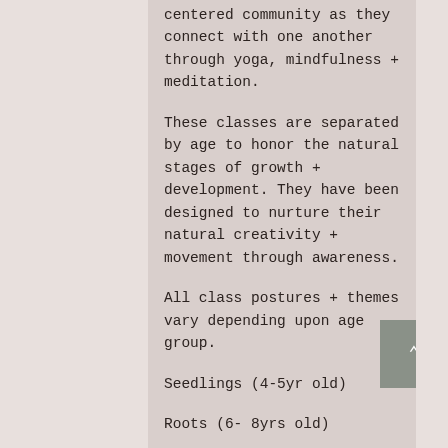centered community as they connect with one another through yoga, mindfulness + meditation.
These classes are separated by age to honor the natural stages of growth + development. They have been designed to nurture their natural creativity + movement through awareness.
All class postures + themes vary depending upon age group.
Seedlings (4-5yr old)
Roots (6- 8yrs old)
Sprouts (9-12yrs old)